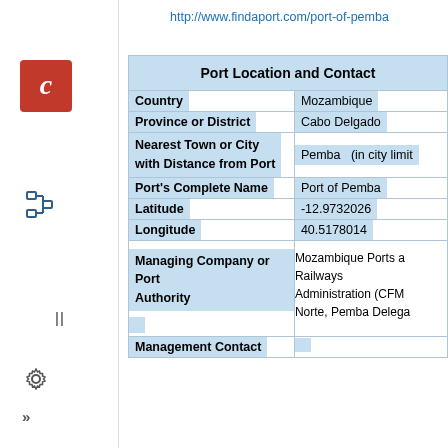http://www.findaport.com/port-of-pemba
| Port Location and Contact |  |
| --- | --- |
| Country | Mozambique |
| Province or District | Cabo Delgado |
| Nearest Town or City with Distance from Port | Pemba   (in city limit |
| Port's Complete Name | Port of Pemba |
| Latitude | -12.9732026 |
| Longitude | 40.5178014 |
| Managing Company or Port Authority | Mozambique Ports a Railways Administration (CFM Norte, Pemba Delega |
| Management Contact |  |